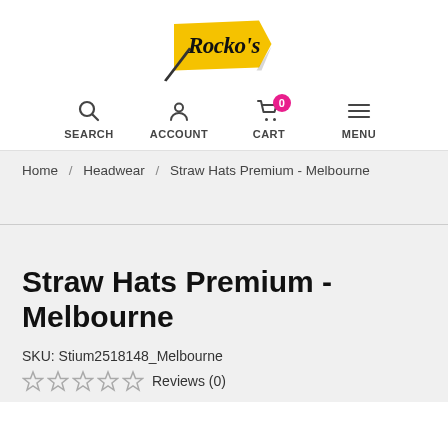[Figure (logo): Rocko's logo: yellow arrow/pennant shape with black text 'Rocko's' in italic bold serif font]
SEARCH   ACCOUNT   CART 0   MENU
Home / Headwear / Straw Hats Premium - Melbourne
Straw Hats Premium - Melbourne
SKU: Stium2518148_Melbourne
☆☆☆☆☆ Reviews (0)